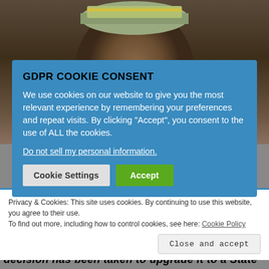[Figure (photo): Close-up photograph of an elderly African man wearing a traditional cap, partially obscured by modal overlays]
GDPR COOKIE CONSENT
We use cookies on our website to give you the most relevant experience by remembering your preferences and repeat visits. By clicking “Accept”, you consent to the use of ALL the cookies.
Do not sell my personal information.
Cookie Settings   Accept
Privacy & Cookies: This site uses cookies. By continuing to use this website, you agree to their use.
To find out more, including how to control cookies, see here: Cookie Policy
Close and accept
decision has been taken to upgrade it to a State